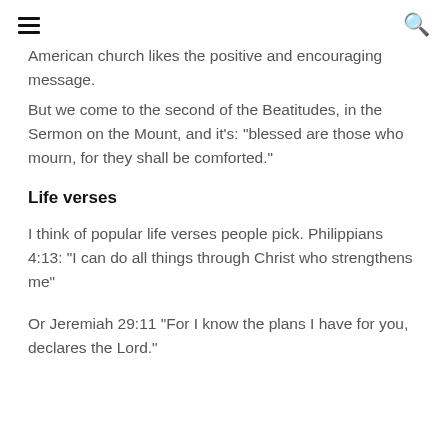[hamburger menu] [search icon]
American church likes the positive and encouraging message.
But we come to the second of the Beatitudes, in the Sermon on the Mount, and it's: "blessed are those who mourn, for they shall be comforted."
Life verses
I think of popular life verses people pick. Philippians 4:13: "I can do all things through Christ who strengthens me"
Or Jeremiah 29:11 "For I know the plans I have for you, declares the Lord."